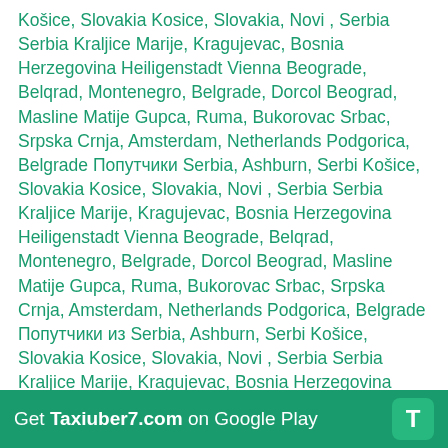Košice, Slovakia Kosice, Slovakia, Novi , Serbia Serbia Kraljice Marije, Kragujevac, Bosnia Herzegovina Heiligenstadt Vienna Beograde, Belqrad, Montenegro, Belgrade, Dorcol Beograd, Masline Matije Gupca, Ruma, Bukorovac Srbac, Srpska Crnja, Amsterdam, Netherlands Podgorica, Belgrade Попутчики Serbia, Ashburn, Serbi Košice, Slovakia Kosice, Slovakia, Novi , Serbia Serbia Kraljice Marije, Kragujevac, Bosnia Herzegovina Heiligenstadt Vienna Beograde, Belqrad, Montenegro, Belgrade, Dorcol Beograd, Masline Matije Gupca, Ruma, Bukorovac Srbac, Srpska Crnja, Amsterdam, Netherlands Podgorica, Belgrade Попутчики из Serbia, Ashburn, Serbi Košice, Slovakia Kosice, Slovakia, Novi , Serbia Serbia Kraljice Marije, Kragujevac, Bosnia Herzegovina Heiligenstadt Vienna Beograde, Belqrad, Montenegro Belgrade, Dorcol Beograd, Masline Matije Gupca, Ruma, Bukorovac Srbac, Srpska Crnja, Amsterdam, Netherlands Podgorica, Belgrade blablacar from Serbia, Ashburn, Serbi Košice, Slovakia Kosice, Slovakia, Novi , Serbia Serbia Kraljice Marije, Kragujevac, Bosnia Herzegovina Heiligenstadt Vienna Beograde, Belqrad, Montenegro, Belgrade, Dorcol Beograd, Masline Matije Gupca, Ruma, Bukorovac Srbac, Srpska Crnja, Amsterdam, Netherlands Podgorica, Belgrade to Blablabus Serbia, Ashburn, Serbi Košice, Slovakia Kosice, Slovakia, Novi , Serbia Serbia Kraljice Marije, Kragujevac, Bosnia Herzegovina Heiligenstadt Vienna Beograde, Belqrad, Montenegro, Belgrade, Dorcol Beograd, Masline Matije Gupca, Ruma, Bukorovac Srbac, Srpska Crnja,
Get Taxiuber7.com on Google Play